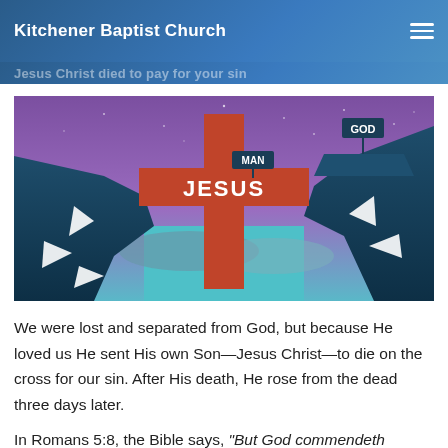Kitchener Baptist Church
Jesus Christ died to pay for your sin
[Figure (illustration): Illustration of a large red cross labeled JESUS bridging a gap between two dark cliff sides, one labeled MAN on the left and one labeled GOD on the right, set against a purple and teal sky background.]
We were lost and separated from God, but because He loved us He sent His own Son—Jesus Christ—to die on the cross for our sin. After His death, He rose from the dead three days later.
In Romans 5:8, the Bible says, "But God commendeth